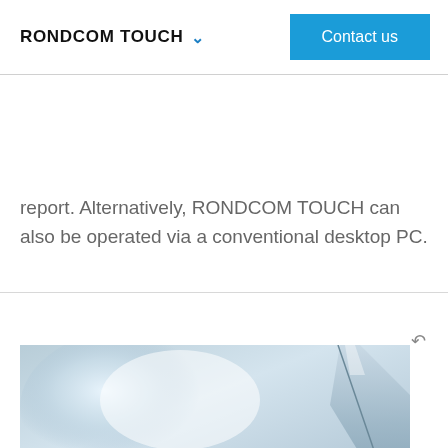RONDCOM TOUCH ∨   Contact us
report. Alternatively, RONDCOM TOUCH can also be operated via a conventional desktop PC.
[Figure (photo): Close-up photo of a polished metallic or glass surface with reflections, showing a curved edge/corner, lit with blue-white lighting.]